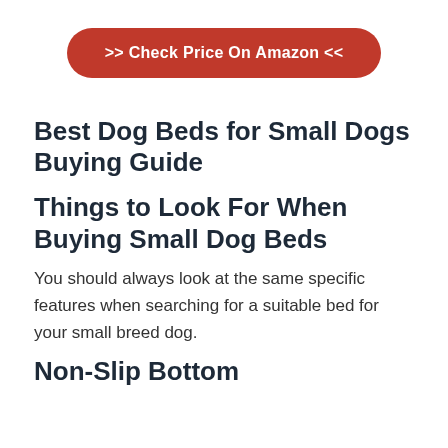[Figure (other): Red rounded rectangle button with white bold text: >> Check Price On Amazon <<]
Best Dog Beds for Small Dogs Buying Guide
Things to Look For When Buying Small Dog Beds
You should always look at the same specific features when searching for a suitable bed for your small breed dog.
Non-Slip Bottom